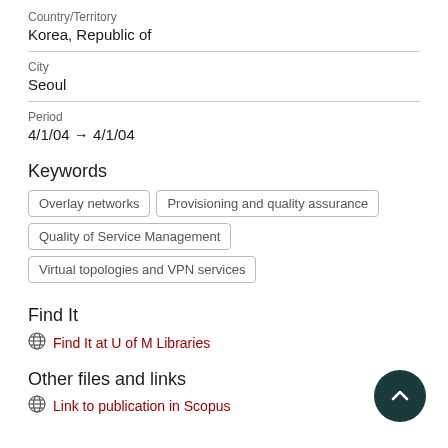Country/Territory
Korea, Republic of
City
Seoul
Period
4/1/04 → 4/1/04
Keywords
Overlay networks
Provisioning and quality assurance
Quality of Service Management
Virtual topologies and VPN services
Find It
Find It at U of M Libraries
Other files and links
Link to publication in Scopus